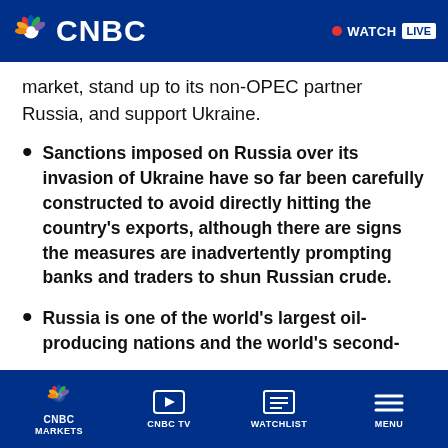CNBC | WATCH LIVE
market, stand up to its non-OPEC partner Russia, and support Ukraine.
Sanctions imposed on Russia over its invasion of Ukraine have so far been carefully constructed to avoid directly hitting the country's exports, although there are signs the measures are inadvertently prompting banks and traders to shun Russian crude.
Russia is one of the world's largest oil-producing nations and the world's second-
CNBC MARKETS | CNBC TV | WATCHLIST | MENU